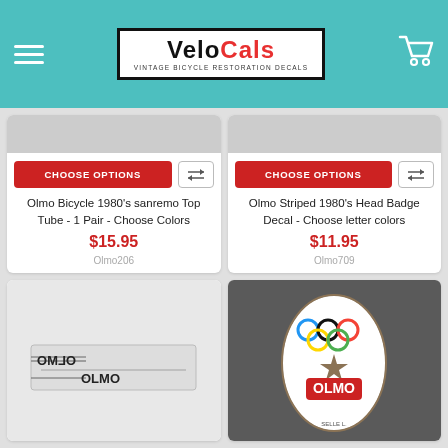VeloCals - Vintage Bicycle Restoration Decals
[Figure (screenshot): VeloCals logo with red and black text on white background with black border]
Olmo Bicycle 1980's sanremo Top Tube - 1 Pair - Choose Colors
$15.95
Olmo206
Olmo Striped 1980's Head Badge Decal - Choose letter colors
$11.95
Olmo709
[Figure (photo): Olmo bicycle top tube decal showing mirrored OLMO text on light background]
[Figure (photo): Olmo head badge decal with Olympic rings, star, laurel wreath and OLMO text on dark gray background]